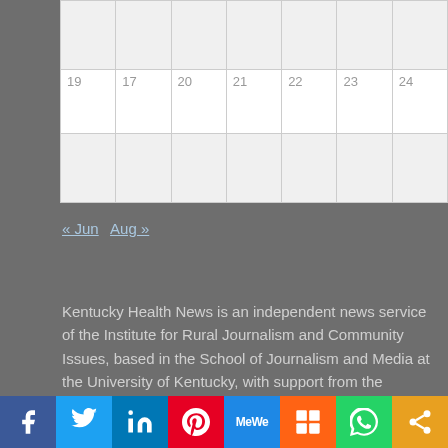|  |  |  |  |  |  |  |
| 19 | 17 | 20 | 21 | 22 | 23 | 24 |
|  |  |  |  |  |  |  |
« Jun   Aug »
Kentucky Health News is an independent news service of the Institute for Rural Journalism and Community Issues, based in the School of Journalism and Media at the University of Kentucky, with support from the Foundation for a Healthy Kentucky.
[Figure (infographic): Social sharing bar with Facebook, Twitter, LinkedIn, Pinterest, MeWe, Mix, WhatsApp, and share icons]